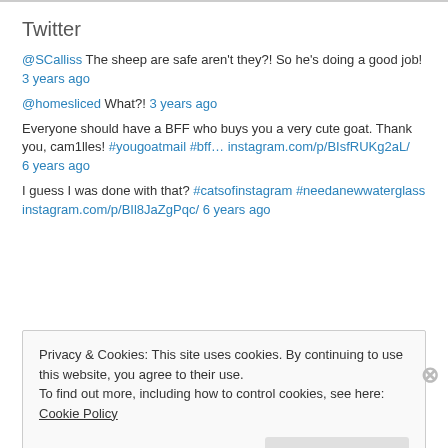Twitter
@SCalliss The sheep are safe aren't they?! So he's doing a good job! 3 years ago
@homesliced What?! 3 years ago
Everyone should have a BFF who buys you a very cute goat. Thank you, cam1lles! #yougoatmail #bff… instagram.com/p/BIsfRUKg2aL/ 6 years ago
I guess I was done with that? #catsofinstagram #needanewwaterglass instagram.com/p/BIl8JaZgPqc/ 6 years ago
Privacy & Cookies: This site uses cookies. By continuing to use this website, you agree to their use. To find out more, including how to control cookies, see here: Cookie Policy Close and accept